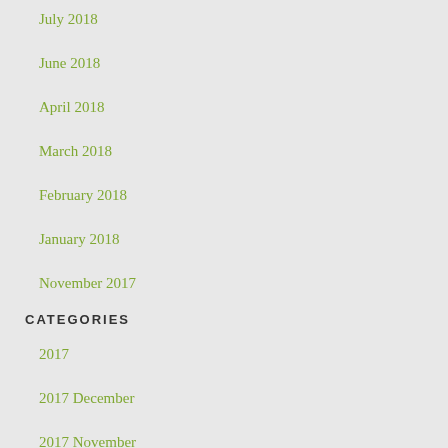July 2018
June 2018
April 2018
March 2018
February 2018
January 2018
November 2017
CATEGORIES
2017
2017 December
2017 November
2018